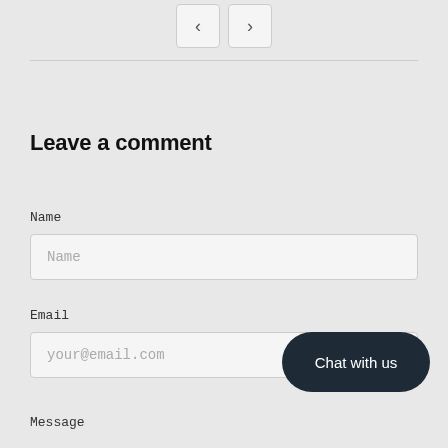[Figure (other): Navigation previous and next arrow buttons]
Leave a comment
Name
Name (input placeholder)
Email
your@email.com (input placeholder)
[Figure (other): Chat with us button (dark rounded button)]
Message